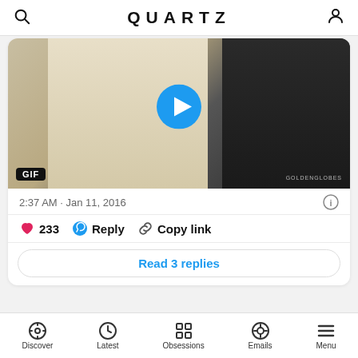QUARTZ
[Figure (screenshot): Tweet card showing a GIF of two men in tuxedos at the Golden Globes, with a play button overlay, GIF badge, timestamp 2:37 AM · Jan 11, 2016, 233 likes, Reply, Copy link, and Read 3 replies button]
Steve Carell was the dark-horse hunk of The Big Short last night. Apparently he gained 20 pounds for the role, which kind of begs for a joke about him being the big short of The Big Short, but he looked great.
Discover  Latest  Obsessions  Emails  Menu